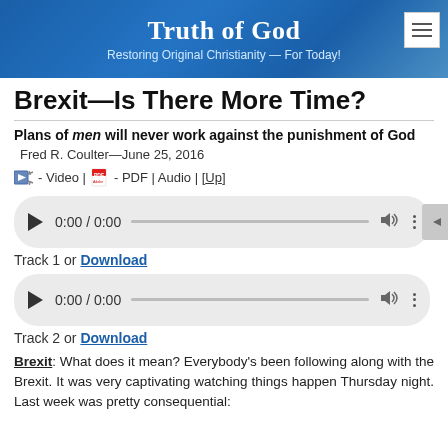[Figure (screenshot): Website banner for 'Truth of God' with blue ocean background, title 'Truth of God' in serif font, subtitle 'Restoring Original Christianity — For Today!' and a hamburger menu icon in the upper right.]
Brexit—Is There More Time?
Plans of men will never work against the punishment of God
Fred R. Coulter—June 25, 2016
- Video | - PDF | Audio | [Up]
[Figure (screenshot): Audio player control showing play button, 0:00 / 0:00 timestamp, progress bar, volume icon, and more options icon. Track 1.]
Track 1 or Download
[Figure (screenshot): Audio player control showing play button, 0:00 / 0:00 timestamp, progress bar, volume icon, and more options icon. Track 2.]
Track 2 or Download
Brexit: What does it mean? Everybody's been following along with the Brexit. It was very captivating watching things happen Thursday night. Last week was pretty consequential: